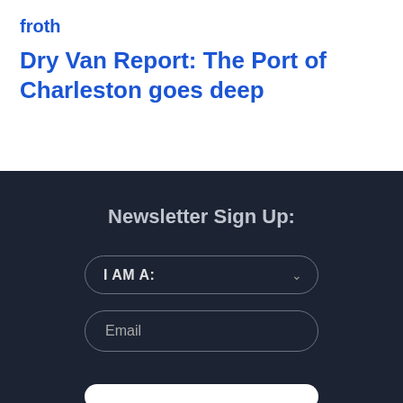froth
Dry Van Report: The Port of Charleston goes deep
Newsletter Sign Up:
I AM A: (dropdown)
Email (input field)
Submit button